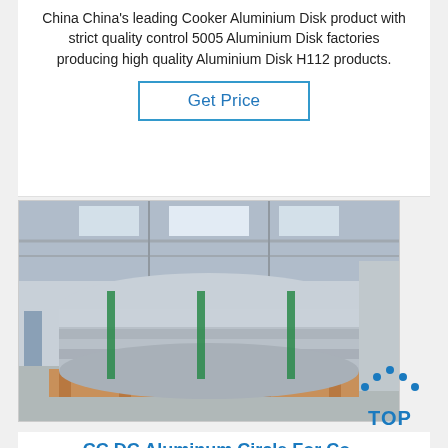China China's leading Cooker Aluminium Disk product with strict quality control 5005 Aluminium Disk factories producing high quality Aluminium Disk H112 products.
Get Price
[Figure (photo): Large aluminium coil/roll on wooden pallets in an industrial warehouse, with green straps securing the roll. The warehouse has a high ceiling with skylights.]
CC DC Aluminum Circle For Co...